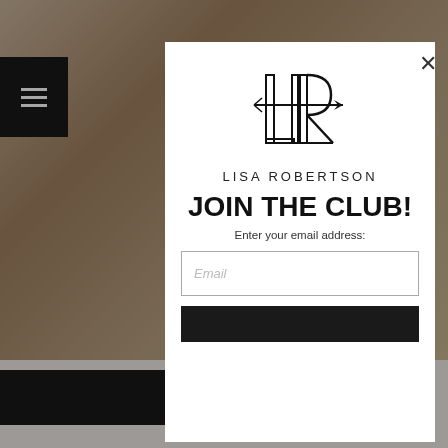[Figure (screenshot): Background website page with blurred content, showing a woman in a room, a dark hamburger menu button top-left, and partial article text about Camo product]
[Figure (logo): Lisa Robertson brand logo: interlocked LR monogram with arrow motif, above text LISA ROBERTSON]
JOIN THE CLUB!
Enter your email address:
Email
[Figure (screenshot): Dark submit button at bottom of modal (partially visible)]
×